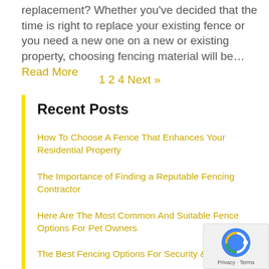replacement? Whether you've decided that the time is right to replace your existing fence or you need a new one on a new or existing property, choosing fencing material will be… Read More
1 2 4 Next »
Recent Posts
How To Choose A Fence That Enhances Your Residential Property
The Importance of Finding a Reputable Fencing Contractor
Here Are The Most Common And Suitable Fence Options For Pet Owners
The Best Fencing Options For Security & Priva…
Here Are Several Comparisons Between Horizontal and Vertical Fencing